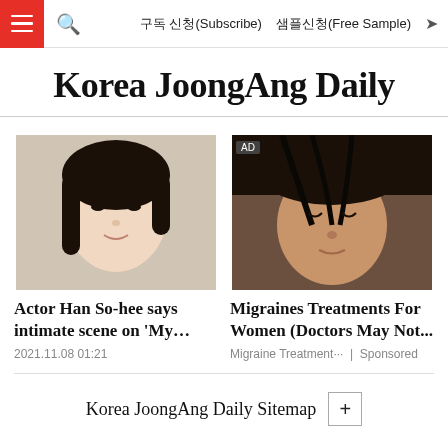구독 신청(Subscribe)   샘플신청(Free Sample)
Korea JoongAng Daily
[Figure (photo): Portrait photo of Actor Han So-hee, young woman with dark hair]
Actor Han So-hee says intimate scene on 'My…'
2021.11.08 01:21
[Figure (photo): Close-up photo of a person looking downward with wet dark hair, AD label in top left]
Migraines Treatments For Women (Doctors May Not...
Migraine Treatment···  |  Sponsored
Korea JoongAng Daily Sitemap +